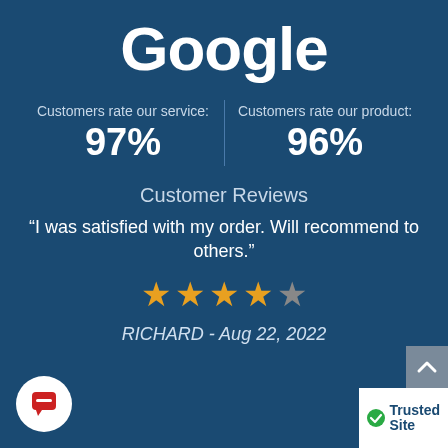Google
Customers rate our service: 97%
Customers rate our product: 96%
Customer Reviews
“I was satisfied with my order. Will recommend to others.”
[Figure (other): 4 out of 5 stars rating]
RICHARD - Aug 22, 2022
[Figure (logo): Chat bubble icon, red on white circle]
[Figure (other): Scroll to top arrow button]
[Figure (logo): TrustedSite badge with green checkmark]